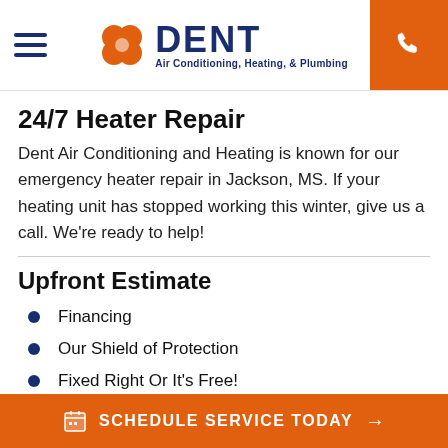DENT Air Conditioning, Heating, & Plumbing
24/7 Heater Repair
Dent Air Conditioning and Heating is known for our emergency heater repair in Jackson, MS. If your heating unit has stopped working this winter, give us a call. We're ready to help!
Upfront Estimate
Financing
Our Shield of Protection
Fixed Right Or It's Free!
SCHEDULE SERVICE TODAY →